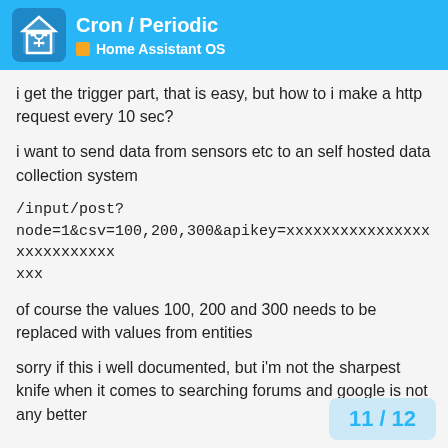Cron / Periodic — Home Assistant OS
i get the trigger part, that is easy, but how to i make a http request every 10 sec?
i want to send data from sensors etc to an self hosted data collection system
/input/post?
node=1&csv=100,200,300&apikey=xxxxxxxxxxxxxxxxxxxxxxxxxxx
xxx
of course the values 100, 200 and 300 needs to be replaced with values from entities
sorry if this i well documented, but i'm not the sharpest knife when it comes to searching forums and google is not any better
11 / 12